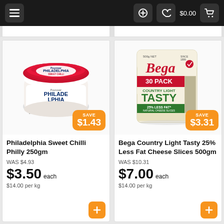$0.00
[Figure (photo): Philadelphia Sweet Chilli Philly cream cheese 250g tub with red lid and a SAVE $1.43 orange badge]
Philadelphia Sweet Chilli Philly 250gm
WAS $4.93
$3.50 each
$14.00 per kg
[Figure (photo): Bega Country Light Tasty 25% Less Fat Cheese Slices 500g pack (30 pack) with a SAVE $3.31 orange badge]
Bega Country Light Tasty 25% Less Fat Cheese Slices 500gm
WAS $10.31
$7.00 each
$14.00 per kg